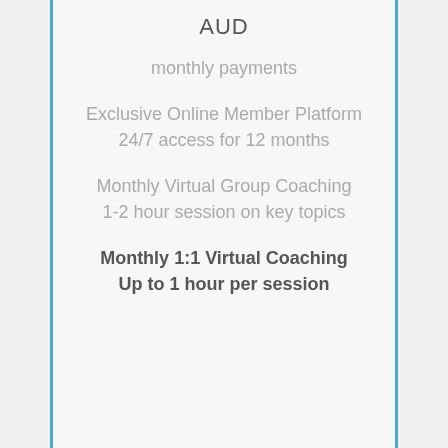AUD
monthly payments
Exclusive Online Member Platform
24/7 access for 12 months
Monthly Virtual Group Coaching
1-2 hour session on key topics
Monthly 1:1 Virtual Coaching
Up to 1 hour per session